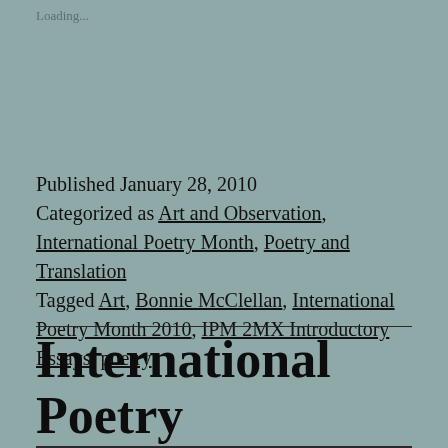Loading...
Published January 28, 2010
Categorized as Art and Observation, International Poetry Month, Poetry and Translation
Tagged Art, Bonnie McClellan, International Poetry Month 2010, IPM 2MX Introductory Essays, poetry
International Poetry